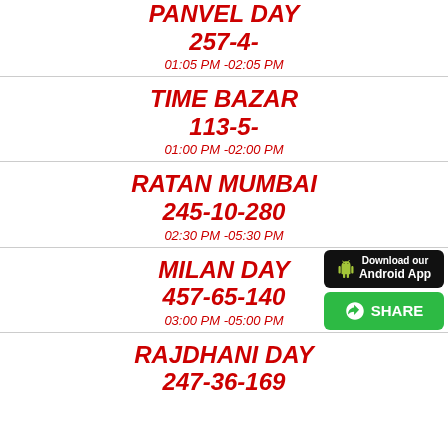PANVEL DAY
257-4-
01:05 PM -02:05 PM
TIME BAZAR
113-5-
01:00 PM -02:00 PM
RATAN MUMBAI
245-10-280
02:30 PM -05:30 PM
MILAN DAY
457-65-140
03:00 PM -05:00 PM
RAJDHANI DAY
247-36-169